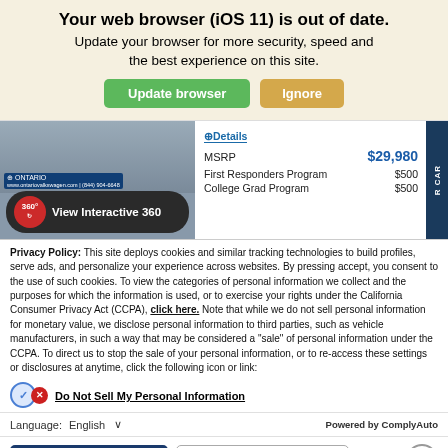Your web browser (iOS 11) is out of date. Update your browser for more security, speed and the best experience on this site.
[Figure (screenshot): Car dealership website screenshot showing a car image with a 360 degree view button, pricing details (MSRP $29,980, First Responders Program $500, College Grad Program $500)]
Privacy Policy: This site deploys cookies and similar tracking technologies to build profiles, serve ads, and personalize your experience across websites. By pressing accept, you consent to the use of such cookies. To view the categories of personal information we collect and the purposes for which the information is used, or to exercise your rights under the California Consumer Privacy Act (CCPA), click here. Note that while we do not sell personal information for monetary value, we disclose personal information to third parties, such as vehicle manufacturers, in such a way that may be considered a "sale" of personal information under the CCPA. To direct us to stop the sale of your personal information, or to re-access these settings or disclosures at anytime, click the following icon or link:
Do Not Sell My Personal Information
Language: English  Powered by ComplyAuto
Accept and Continue → California Privacy Disclosures